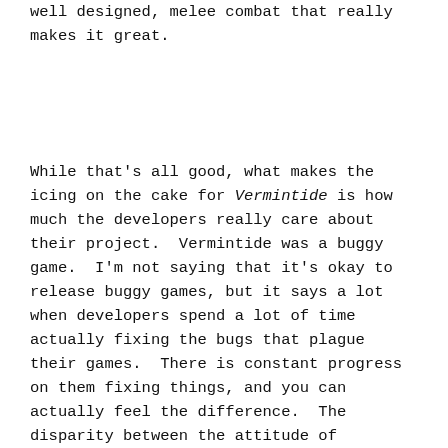well designed, melee combat that really makes it great.
While that's all good, what makes the icing on the cake for Vermintide is how much the developers really care about their project. Vermintide was a buggy game. I'm not saying that it's okay to release buggy games, but it says a lot when developers spend a lot of time actually fixing the bugs that plague their games. There is constant progress on them fixing things, and you can actually feel the difference. The disparity between the attitude of developers is sad. I suppose it helps if the development studio is smaller. It feels less like a boss saying, "Just deal with it." and more like a friend that says, "I'm working on it." They feel so human. And